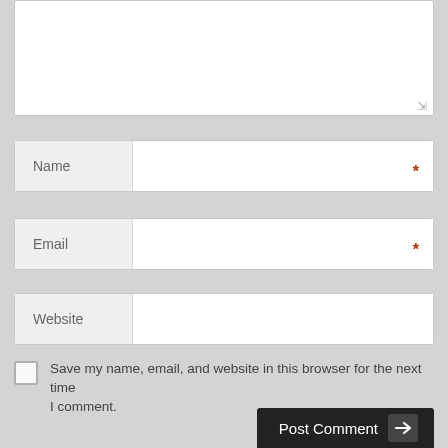[Figure (screenshot): Comment form textarea (top portion, partially visible)]
Name *
Email *
Website
Save my name, email, and website in this browser for the next time I comment.
Post Comment